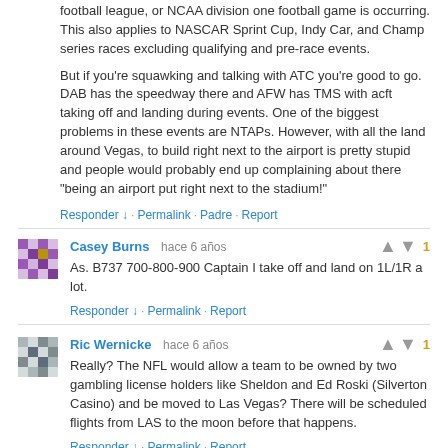football league, or NCAA division one football game is occurring. This also applies to NASCAR Sprint Cup, Indy Car, and Champ series races excluding qualifying and pre-race events.

But if you're squawking and talking with ATC you're good to go. DAB has the speedway there and AFW has TMS with acft taking off and landing during events. One of the biggest problems in these events are NTAPs. However, with all the land around Vegas, to build right next to the airport is pretty stupid and people would probably end up complaining about there "being an airport put right next to the stadium!"
Responder ↓ · Permalink · Padre · Report
Casey Burns   hace 6 años
As. B737 700-800-900 Captain I take off and land on 1L/1R a lot.
Responder ↓ · Permalink · Report
Ric Wernicke   hace 6 años
Really? The NFL would allow a team to be owned by two gambling license holders like Sheldon and Ed Roski (Silverton Casino) and be moved to Las Vegas? There will be scheduled flights from LAS to the moon before that happens.
Responder ↓ · Permalink · Report